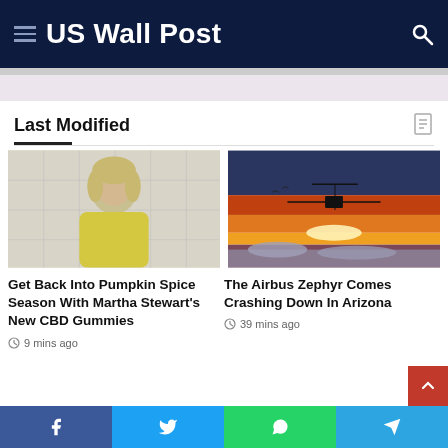US Wall Post
Last Modified
[Figure (photo): Woman in yellow outfit standing in front of white tiled wall, blonde hair]
Get Back Into Pumpkin Spice Season With Martha Stewart's New CBD Gummies
9 mins ago
[Figure (photo): Solar-powered drone aircraft flying at sunset over clouds, orange and red sky]
The Airbus Zephyr Comes Crashing Down In Arizona
39 mins ago